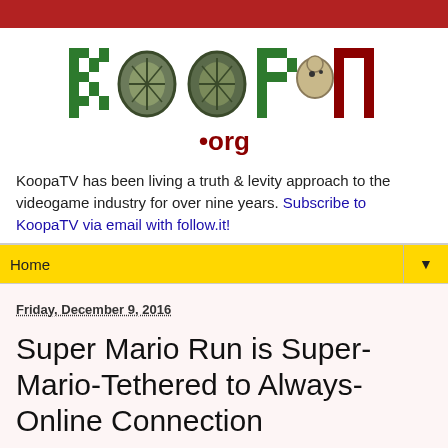[Figure (logo): KoopaTV.org pixel-art logo with green Koopa turtle shells forming the letters, in green and dark red colors]
KoopaTV has been living a truth & levity approach to the videogame industry for over nine years. Subscribe to KoopaTV via email with follow.it!
Home
Friday, December 9, 2016
Super Mario Run is Super-Mario-Tethered to Always-Online Connection
[Figure (photo): Small thumbnail image, partially visible, with blue and green colors]